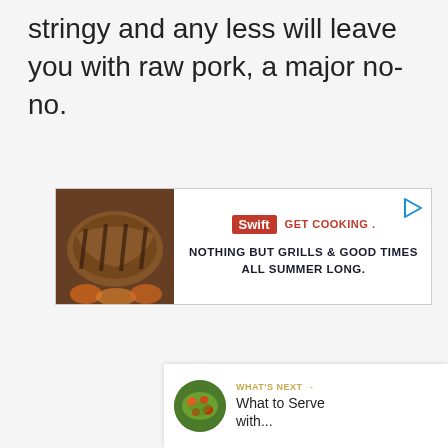stringy and any less will leave you with raw pork, a major no-no.
[Figure (screenshot): Advertisement banner for Swift brand: grilled meat image on left, Swift logo in red, 'GET COOKING' text in red, play button icon, bold text 'NOTHING BUT GRILLS & GOOD TIMES ALL SUMMER LONG.']
[Figure (infographic): Floating heart/like button (gold circle with heart icon), count '9', and share button (white circle with share icon) on right side of page]
[Figure (infographic): What's Next panel: circular thumbnail of food dish, label 'WHAT'S NEXT →', title 'What to Serve with...']